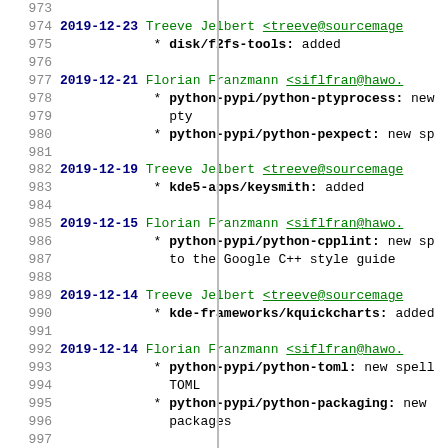Source code changelog / commit log lines 973-1002
973 (blank)
974 2019-12-23 Treeve Jelbert <treeve@sourcemage...>
975   * disk/f2fs-tools: added
976 (blank)
977 2019-12-21 Florian Franzmann <siflfran@hawo...>
978   * python-pypi/python-ptyprocess: new...
979     pty
980   * python-pypi/python-pexpect: new sp...
981 (blank)
982 2019-12-19 Treeve Jelbert <treeve@sourcemage...>
983   * kde5-apps/keysmith: added
984 (blank)
985 2019-12-15 Florian Franzmann <siflfran@hawo...>
986   * python-pypi/python-cpplint: new sp...
987     to the Google C++ style guide
988 (blank)
989 2019-12-14 Treeve Jelbert <treeve@sourcemage...>
990   * kde-frameworks/kquickcharts: added...
991 (blank)
992 2019-12-14 Florian Franzmann <siflfran@hawo...>
993   * python-pypi/python-toml: new spell...
994     TOML
995   * python-pypi/python-packaging: new...
996     packages
997 (blank)
998 2019-12-12 Treeve Jelbert <treeve@sourcemage...>
999   * move elisa to kde5-mm
1000 (blank)
1001 2019-12-12 Florian Franzmann <siflfran@hawo...>
1002   * FUNCTIONS: add function for disab...